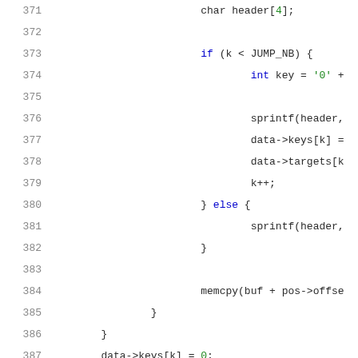[Figure (screenshot): Source code snippet in C showing lines 371-391, including char header[4] declaration, if/else block with sprintf, data->keys, data->targets, k++, memcpy, data->keys[k]=0, closing braces, and static void search_conf(void) function definition.]